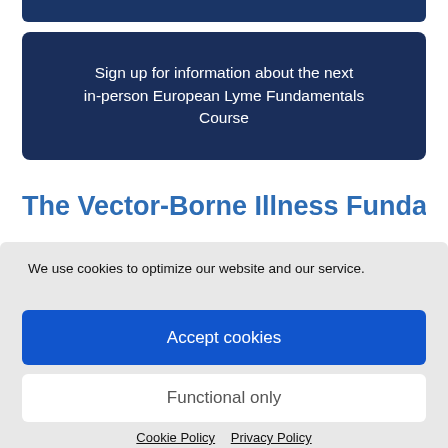[Figure (other): Dark navy blue button/banner at top of page (partial, cropped)]
Sign up for information about the next in-person European Lyme Fundamentals Course
The Vector-Borne Illness Fundamentals
We use cookies to optimize our website and our service.
Accept cookies
Functional only
Cookie Policy   Privacy Policy